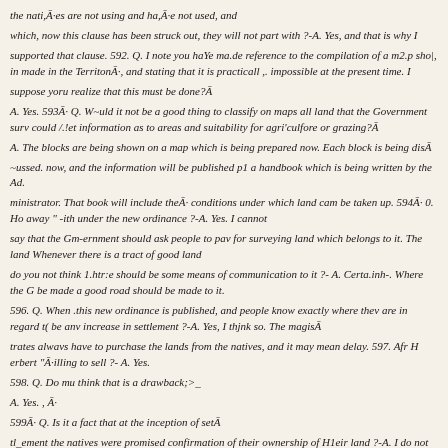the nati,Ā·es are not using and ha,Ā·e not used, and
which, now this clause has been struck out, they will not part with ?-A. Yes, and that is why I
supported that clause. 592. Q. I note you haYe ma.de reference to the compilation of a m2.p sho|, in made in the TerritonĀ·, and stating that it is practicall ,. impossible at the present time. I
suppose yoru realize that this must be done?Ā
A. Yes. 593Ā· Q. W~uld it not be a good thing to classify on maps all land that the Government surv could /.!et information as to areas and suitability for agri'culfore or grazing?Ā
A. The blocks are being shown on a map which is being prepared now. Each block is being disĀ
~ussed. now, and the information will be published p1 a handbook which is being written by the Ad.
ministrator. That book will include theĀ· conditions under which land cam be taken up. 594Ā· 0. Ho away " -ith under the new ordinance ?-A. Yes. I cannot
say that the Gm-ernment should ask people to pav for surveying land which belongs to it. The land Whenever there is a tract of good land
do you not think 1.htr:e should be some means of communication to it ?- A. Certa.inh-. Where the G be made a good road should be made to it.
596. Q. When .this new ordinance is published, and people know exactly where thev are in regard t( be anv increase in settlement ?-A. Yes, I thjnk so. The magisĀ
trates alwavs have to purchase the lands from the natives, and it may mean delay. 597. Afr H erbert "Ā·illing to sell ?- A. Yes.
598. Q. Do mu think that is a drawback;>_
A. Yes. , Ā·
599Ā· Q. Is it a fact that at the inception of setĀ
tl_ement the natives were promised confirmation of their ownership of H1eir land ?-A. I do not kno 600. Q. If it were a fact, do mu think that it
wou 1 rl be any breach of that assuranre to insert the original section in the ordinance, that is the c purchase ?- A. I do not